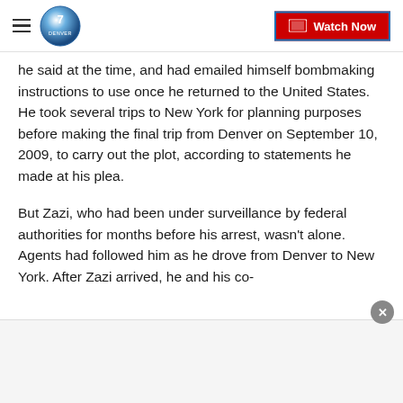Denver7 | Watch Now
he said at the time, and had emailed himself bombmaking instructions to use once he returned to the United States. He took several trips to New York for planning purposes before making the final trip from Denver on September 10, 2009, to carry out the plot, according to statements he made at his plea.
But Zazi, who had been under surveillance by federal authorities for months before his arrest, wasn't alone. Agents had followed him as he drove from Denver to New York. After Zazi arrived, he and his co-